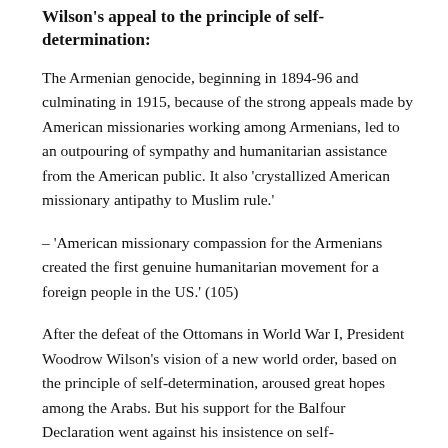Wilson's appeal to the principle of self-determination:
The Armenian genocide, beginning in 1894-96 and culminating in 1915, because of the strong appeals made by American missionaries working among Armenians, led to an outpouring of sympathy and humanitarian assistance from the American public. It also ‘crystallized American missionary antipathy to Muslim rule.’
– ‘American missionary compassion for the Armenians created the first genuine humanitarian movement for a foreign people in the US.’ (105)
After the defeat of the Ottomans in World War I, President Woodrow Wilson’s vision of a new world order, based on the principle of self-determination, aroused great hopes among the Arabs. But his support for the Balfour Declaration went against his insistence on self-determination.